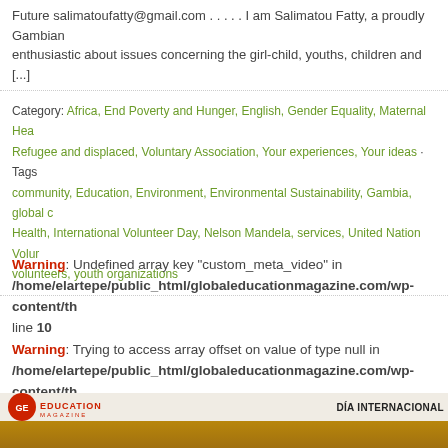Future salimatoufatty@gmail.com . . . . . I am Salimatou Fatty, a proudly Gambian enthusiastic about issues concerning the girl-child, youths, children and [...]
Category: Africa, End Poverty and Hunger, English, Gender Equality, Maternal Hea... Refugee and displaced, Voluntary Association, Your experiences, Your ideas · Tags: community, Education, Environment, Environmental Sustainability, Gambia, global ... Health, International Volunteer Day, Nelson Mandela, services, United Nation Volur... volunteers, youth organizations
Warning: Undefined array key "custom_meta_video" in /home/elartepe/public_html/globaleducationmagazine.com/wp-content/th... line 10
Warning: Trying to access array offset on value of type null in /home/elartepe/public_html/globaleducationmagazine.com/wp-content/th... line 10
[Figure (screenshot): Global Education Magazine header banner with logo and 'DIA INTERNACIONAL' text, on a brown/golden background]